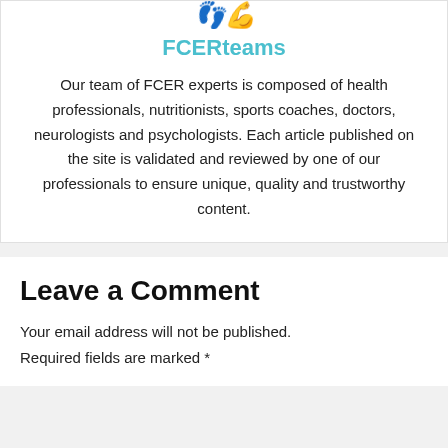[Figure (logo): FCERteams logo mark at top of card]
FCERteams
Our team of FCER experts is composed of health professionals, nutritionists, sports coaches, doctors, neurologists and psychologists. Each article published on the site is validated and reviewed by one of our professionals to ensure unique, quality and trustworthy content.
Leave a Comment
Your email address will not be published.
Required fields are marked *